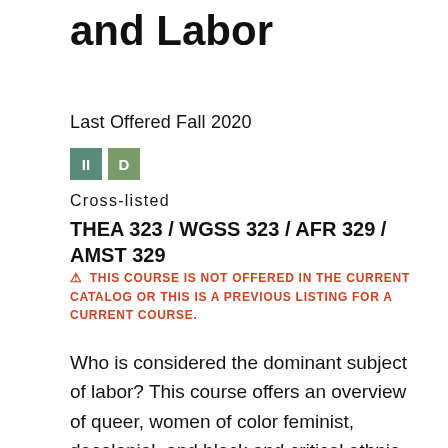and Labor
Last Offered Fall 2020
[Figure (other): Two colored badge icons: 'II' in teal and 'D' in olive green]
Cross-listed
THEA 323 / WGSS 323 / AFR 329 / AMST 329
⚠ THIS COURSE IS NOT OFFERED IN THE CURRENT CATALOG OR THIS IS A PREVIOUS LISTING FOR A CURRENT COURSE.
Who is considered the dominant subject of labor? This course offers an overview of queer, women of color feminist, decolonial, and black and critical ethnic studies critiques of orthodox Marxism. Starting with core texts from the Marxist tradition, we will explore a range of social positions and forms of labor that